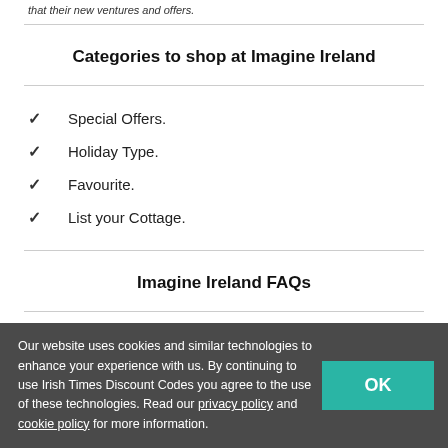that their new ventures and offers.
Categories to shop at Imagine Ireland
Special Offers.
Holiday Type.
Favourite.
List your Cottage.
Imagine Ireland FAQs
What is the payment option?
Our website uses cookies and similar technologies to enhance your experience with us. By continuing to use Irish Times Discount Codes you agree to the use of these technologies. Read our privacy policy and cookie policy for more information.